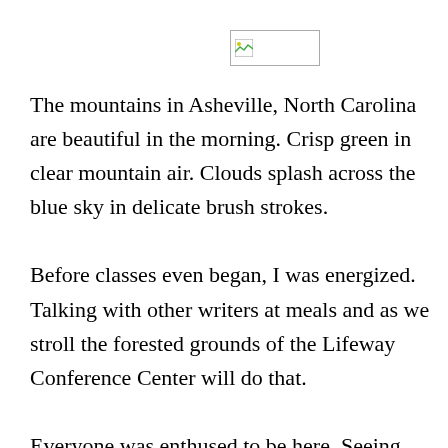[Figure (photo): Small broken/placeholder image icon in upper center area]
The mountains in Asheville, North Carolina are beautiful in the morning. Crisp green in clear mountain air. Clouds splash across the blue sky in delicate brush strokes.
Before classes even began, I was energized. Talking with other writers at meals and as we stroll the forested grounds of the Lifeway Conference Center will do that.
Everyone was enthused to be here. Seeing and hearing the nervous anxiety